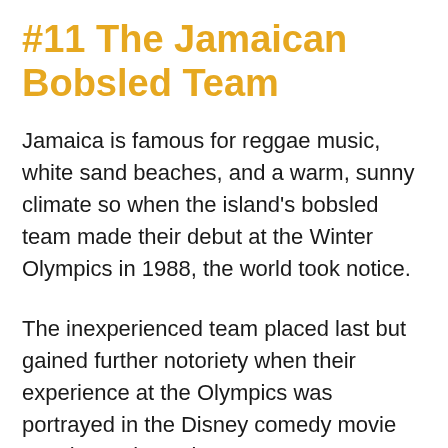#11 The Jamaican Bobsled Team
Jamaica is famous for reggae music, white sand beaches, and a warm, sunny climate so when the island's bobsled team made their debut at the Winter Olympics in 1988, the world took notice.
The inexperienced team placed last but gained further notoriety when their experience at the Olympics was portrayed in the Disney comedy movie “Cool Running’s” in 1993.
But Jamaica did not give up, and in 1994 the bobsled team made an Olympic return in Lillehammer where the four-man team finished...